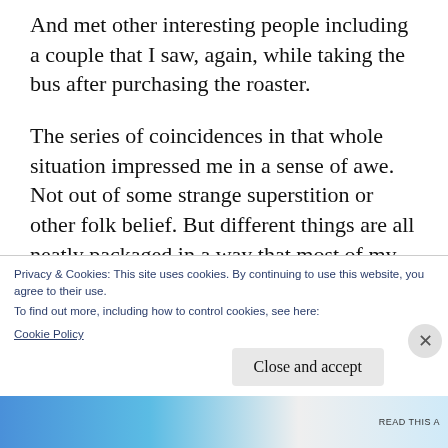And met other interesting people including a couple that I saw, again, while taking the bus after purchasing the roaster.
The series of coincidences in that whole situation impressed me in a sense of awe. Not out of some strange superstition or other folk belief. But different things are all neatly packaged in a way that most of my life isn't. Nothing weird about this. The packaging is easy to explain and mostly comes from my own
Privacy & Cookies: This site uses cookies. By continuing to use this website, you agree to their use.
To find out more, including how to control cookies, see here:
Cookie Policy
Close and accept